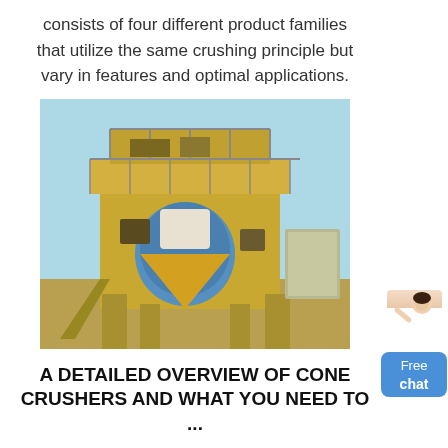consists of four different product families that utilize the same crushing principle but vary in features and optimal applications.
[Figure (photo): Large industrial cone crusher machine photographed outdoors, showing heavy yellow/gold colored equipment with walkways, railings, and a blue cylindrical component, against a light blue sky.]
A DETAILED OVERVIEW OF CONE CRUSHERS AND WHAT YOU NEED TO ...
Jun 03, 2020· In this Cone Crusher article we want to educate you about what to consider when purchasing a cone crusher. It also will inform and